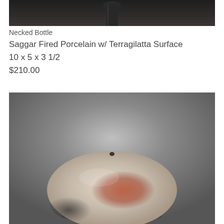[Figure (photo): Top portion of a ceramic necked bottle photographed against a dark background, showing the neck and upper body of the vessel.]
Necked Bottle
Saggar Fired Porcelain w/ Terragilatta Surface
10 x 5 x 3 1/2
$210.00
[Figure (photo): A flattened oval ceramic piece (possibly a disk or flattened bottle/vessel) with a smooth surface showing mottled colors of rust, cream, and dark gray/black tones, photographed against a medium gray gradient background.]